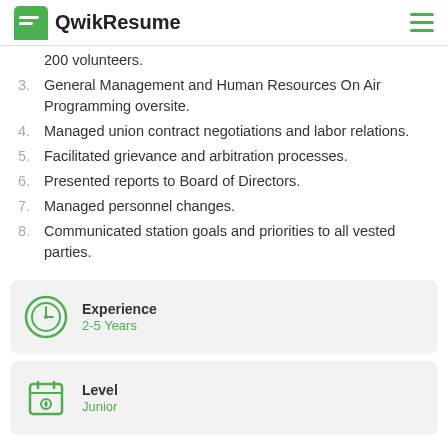QwikResume
200 volunteers.
3. General Management and Human Resources On Air Programming oversite.
4. Managed union contract negotiations and labor relations.
5. Facilitated grievance and arbitration processes.
6. Presented reports to Board of Directors.
7. Managed personnel changes.
8. Communicated station goals and priorities to all vested parties.
Experience
2-5 Years
Level
Junior